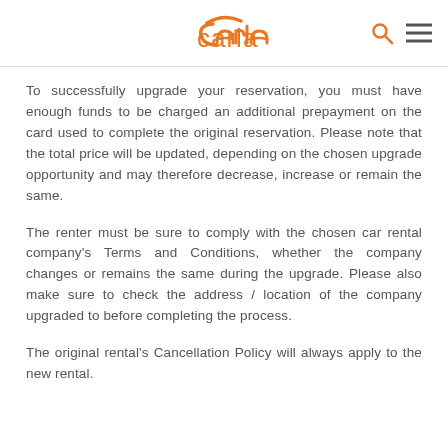carla
To successfully upgrade your reservation, you must have enough funds to be charged an additional prepayment on the card used to complete the original reservation. Please note that the total price will be updated, depending on the chosen upgrade opportunity and may therefore decrease, increase or remain the same.
The renter must be sure to comply with the chosen car rental company's Terms and Conditions, whether the company changes or remains the same during the upgrade. Please also make sure to check the address / location of the company upgraded to before completing the process.
The original rental's Cancellation Policy will always apply to the new rental.